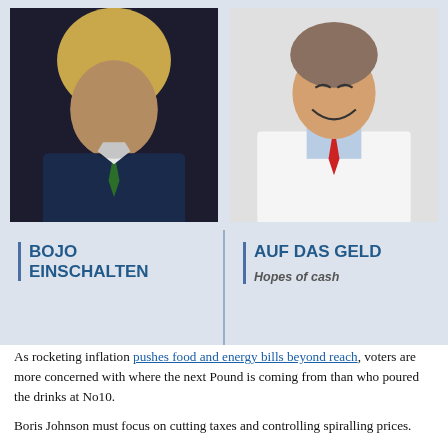[Figure (photo): Two side-by-side photos in a blue-grey panel. Left: Boris Johnson in a dark suit, looking serious, outdoors. Right: A man in a white lab coat, laughing, indoors.]
BOJO EINSCHALTEN
AUF DAS GELD
Hopes of cash
As rocketing inflation pushes food and energy bills beyond reach, voters are more concerned with where the next Pound is coming from than who poured the drinks at No10.
Boris Johnson must focus on cutting taxes and controlling spiralling prices.
Otherwise voters will never put their faith in him again.